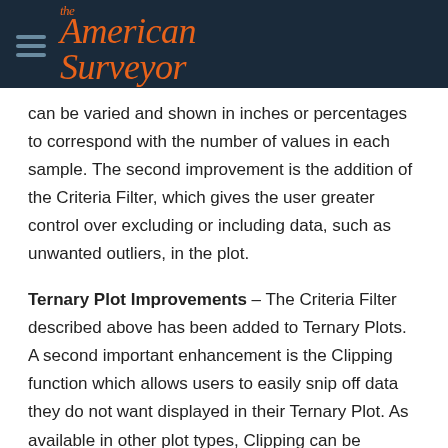The American Surveyor
can be varied and shown in inches or percentages to correspond with the number of values in each sample. The second improvement is the addition of the Criteria Filter, which gives the user greater control over excluding or including data, such as unwanted outliers, in the plot.
Ternary Plot Improvements – The Criteria Filter described above has been added to Ternary Plots. A second important enhancement is the Clipping function which allows users to easily snip off data they do not want displayed in their Ternary Plot. As available in other plot types, Clipping can be applied at axes limits or by values.